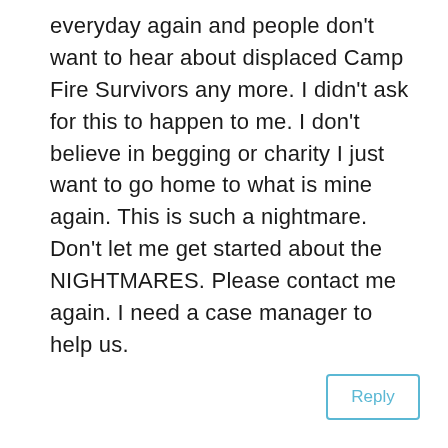everyday again and people don't want to hear about displaced Camp Fire Survivors any more. I didn't ask for this to happen to me. I don't believe in begging or charity I just want to go home to what is mine again. This is such a nightmare. Don't let me get started about the NIGHTMARES. Please contact me again. I need a case manager to help us.
Reply